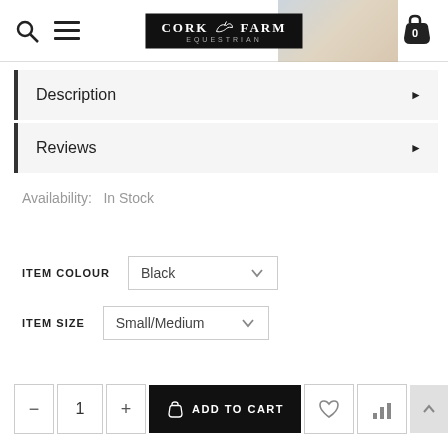Cork Farm Equestrian — site header with search, menu, logo, and cart (0 items)
Description ▶
Reviews ▶
Availability: In Stock
ITEM COLOUR  Black
ITEM SIZE  Small/Medium
− 1 + ADD TO CART ♡ 📊